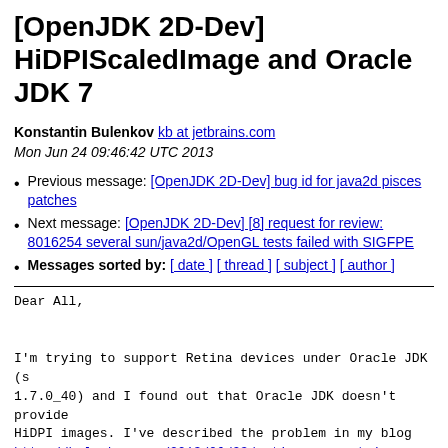[OpenJDK 2D-Dev] HiDPIScaledImage and Oracle JDK 7
Konstantin Bulenkov kb at jetbrains.com
Mon Jun 24 09:46:42 UTC 2013
Previous message: [OpenJDK 2D-Dev] bug id for java2d pisces patches
Next message: [OpenJDK 2D-Dev] [8] request for review: 8016254 several sun/java2d/OpenGL tests failed with SIGFPE
Messages sorted by: [ date ] [ thread ] [ subject ] [ author ]
Dear All,


I'm trying to support Retina devices under Oracle JDK (s1.7.0_40) and I found out that Oracle JDK doesn't provide HiDPI images. I've described the problem in my blog
http://bulenkov.com/2013/06/23/retina-support-in-oracle-